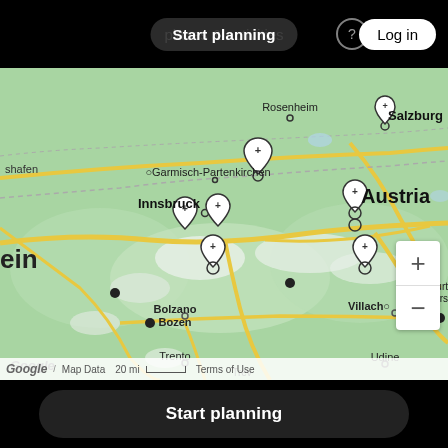Start planning  places & activities   Log in
[Figure (map): Google Map showing the Alpine region covering parts of Germany, Austria, and Italy. Cities labeled include Rosenheim, Salzburg, Garmisch-Partenkirchen, Innsbruck, Bolzano/Bozen, Villach, Trento, Udine, and others. Multiple map pin markers are shown across the region. Zoom controls (+/-) are visible in the bottom right. Map footer shows Google branding, Map Data, 20 mi scale bar, and Terms of Use.]
Start planning